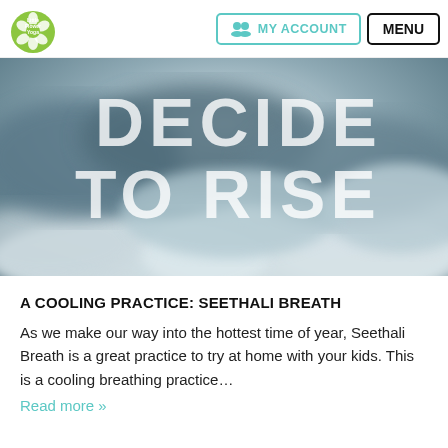Little Flower Yoga | MY ACCOUNT | MENU
[Figure (photo): Hero image of dramatic cloud formation with large white bold text overlay reading 'DECIDE TO RISE']
A COOLING PRACTICE: SEETHALI BREATH
As we make our way into the hottest time of year, Seethali Breath is a great practice to try at home with your kids. This is a cooling breathing practice…
Read more »